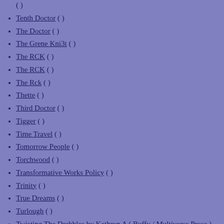( )
Tenth Doctor ( )
The Doctor ( )
The Grene Kni3t ( )
The RCK ( )
The RCK ( )
The Rck ( )
Thette ( )
Third Doctor ( )
Tigger ( )
Time Travel ( )
Tomorrow People ( )
Torchwood ( )
Transformative Works Policy ( )
Trinity ( )
True Dreams ( )
Turlough ( )
Twisting The Drabbles by Kathryn A ( Buffy / Multiverse Prose ) (varied )
Immortals, aliens, and goblins, oh my! Various Buffy-crossover drabbles and double-drabbles collected together for your convenience.
( Crossover , Challenge , Collection )
Tyraa Rane ( )
U ( )
U ( )